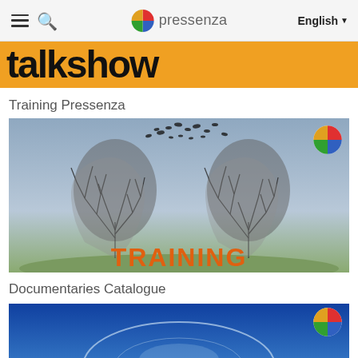Pressenza — English
[Figure (photo): Talk show banner with large bold text 'talkshow' on orange and dark background]
Training Pressenza
[Figure (photo): Training Pressenza image showing two human head silhouettes made of tree branches with birds flying, and the word TRAINING in orange letters at the bottom. Pressenza logo in top right.]
Documentaries Catalogue
[Figure (photo): Documentaries Catalogue image showing a globe or planet illustration with Pressenza logo in top right.]